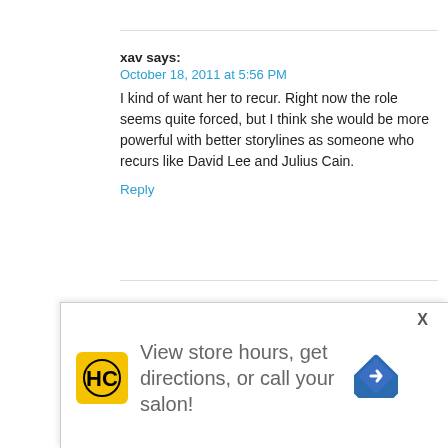xav says:
October 18, 2011 at 5:56 PM
I kind of want her to recur. Right now the role seems quite forced, but I think she would be more powerful with better storylines as someone who recurs like David Lee and Julius Cain.
Reply
Alicia says:
October 18, 2011 at 6:34 PM
Agreed, I'd like her to recur as well, but the character seems like she's trying to drag dow
[Figure (infographic): Advertisement banner overlay: HC hair care logo (yellow background with stylized HC letters), text 'View store hours, get directions, or call your salon!', blue diamond direction arrow icon, X close button, small play and X icons bottom left]